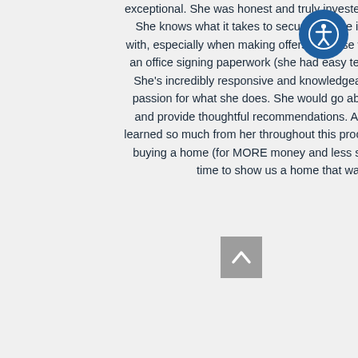exceptional. She was honest and truly invested in making sure we found our dream home. She knows what it takes to secure a home in this market. Kristin was a breeze to work with, especially when making offers because we didn't have to spend unnecessary time in an office signing paperwork (she had easy technology to use for that...all on my phone!). She's incredibly responsive and knowledgeable, yet it was evident she has a heart and passion for what she does. She would go above and beyond to check out listings for us and provide thoughtful recommendations. As homebuyers (and now homeowners!) we learned so much from her throughout this process. My husband and I were on the verge of buying a home (for MORE money and less space) and Kristin swooped in at the nick of time to show us a home that was less money, yet a way better